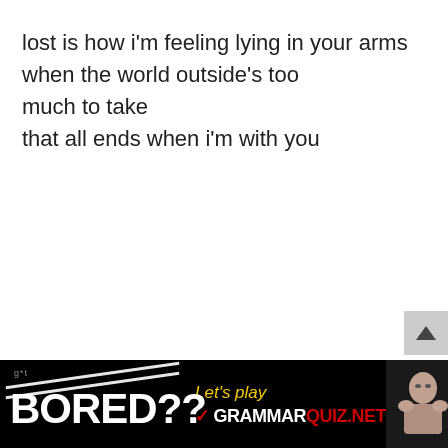lost is how i'm feeling lying in your arms
when the world outside's too
much to take
that all ends when i'm with you
[Figure (other): Advertisement banner with black background. Left side shows 'BORED??' text in white with diagonal white stripes and small 'g*t' label above. Middle shows yellow italic 'Let's play' text and below it a red checkmark followed by 'GRAMMARQUIZ.NET' in white and red. Right side shows a photo of a woman resting her chin on her hands.]